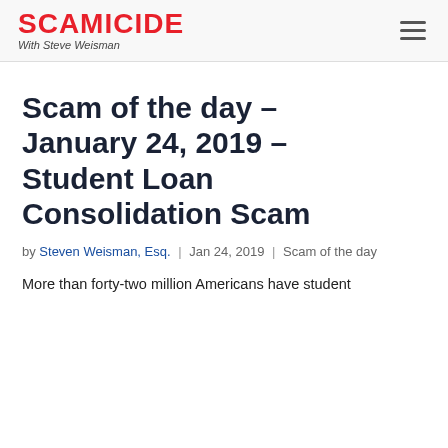SCAMICIDE With Steve Weisman
Scam of the day – January 24, 2019 – Student Loan Consolidation Scam
by Steven Weisman, Esq. | Jan 24, 2019 | Scam of the day
More than forty-two million Americans have student